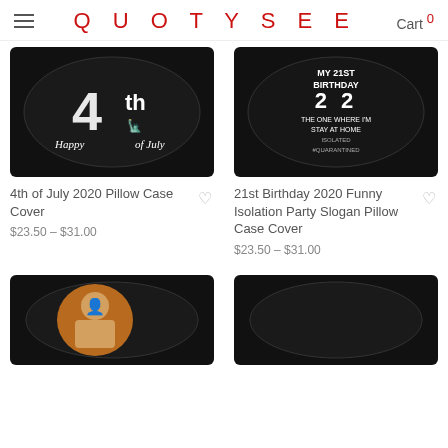QUOTYSEE   Cart 0
[Figure (photo): Black pillow case with '4th of July' text and graphic]
4th of July 2020 Pillow Case Cover
$23.50 – $31.00
[Figure (photo): Black pillow case with '21st Birthday' quarantine text]
21st Birthday 2020 Funny Isolation Party Slogan Pillow Case Cover
$23.50 – $31.00
[Figure (photo): Black pillow with person photo]
[Figure (photo): Black pillow, partially visible]